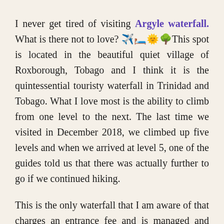I never get tired of visiting Argyle waterfall. What is there not to love? ✈️🛏️🌞🌳This spot is located in the beautiful quiet village of Roxborough, Tobago and I think it is the quintessential touristy waterfall in Trinidad and Tobago. What I love most is the ability to climb from one level to the next. The last time we visited in December 2018, we climbed up five levels and when we arrived at level 5, one of the guides told us that there was actually further to go if we continued hiking.
This is the only waterfall that I am aware of that charges an entrance fee and is managed and maintained by a committee. I think it is a great idea and I hope you would agree with some of...